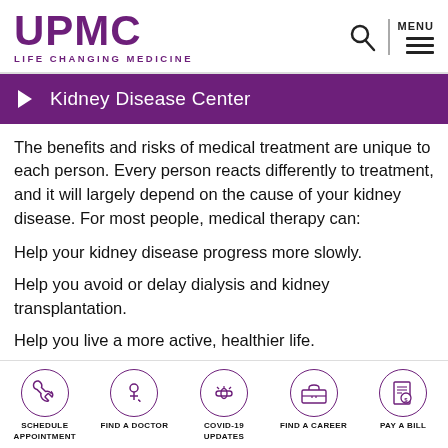UPMC LIFE CHANGING MEDICINE
Kidney Disease Center
The benefits and risks of medical treatment are unique to each person. Every person reacts differently to treatment, and it will largely depend on the cause of your kidney disease. For most people, medical therapy can:
Help your kidney disease progress more slowly.
Help you avoid or delay dialysis and kidney transplantation.
Help you live a more active, healthier life.
SCHEDULE APPOINTMENT | FIND A DOCTOR | COVID-19 UPDATES | FIND A CAREER | PAY A BILL